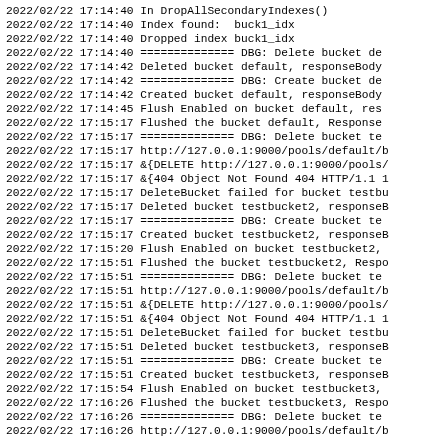2022/02/22 17:14:40 In DropAllSecondaryIndexes()
2022/02/22 17:14:40 Index found:  buck1_idx
2022/02/22 17:14:40 Dropped index buck1_idx
2022/02/22 17:14:40 ============== DBG: Delete bucket de
2022/02/22 17:14:42 Deleted bucket default, responseBody
2022/02/22 17:14:42 ============== DBG: Create bucket de
2022/02/22 17:14:42 Created bucket default, responseBody
2022/02/22 17:14:45 Flush Enabled on bucket default, res
2022/02/22 17:15:17 Flushed the bucket default, Response
2022/02/22 17:15:17 ============== DBG: Delete bucket te
2022/02/22 17:15:17 http://127.0.0.1:9000/pools/default/b
2022/02/22 17:15:17 &{DELETE http://127.0.0.1:9000/pools/
2022/02/22 17:15:17 &{404 Object Not Found 404 HTTP/1.1 1
2022/02/22 17:15:17 DeleteBucket failed for bucket testbu
2022/02/22 17:15:17 Deleted bucket testbucket2, responseB
2022/02/22 17:15:17 ============== DBG: Create bucket te
2022/02/22 17:15:17 Created bucket testbucket2, responseB
2022/02/22 17:15:20 Flush Enabled on bucket testbucket2,
2022/02/22 17:15:51 Flushed the bucket testbucket2, Respo
2022/02/22 17:15:51 ============== DBG: Delete bucket te
2022/02/22 17:15:51 http://127.0.0.1:9000/pools/default/b
2022/02/22 17:15:51 &{DELETE http://127.0.0.1:9000/pools/
2022/02/22 17:15:51 &{404 Object Not Found 404 HTTP/1.1 1
2022/02/22 17:15:51 DeleteBucket failed for bucket testbu
2022/02/22 17:15:51 Deleted bucket testbucket3, responseB
2022/02/22 17:15:51 ============== DBG: Create bucket te
2022/02/22 17:15:51 Created bucket testbucket3, responseB
2022/02/22 17:15:54 Flush Enabled on bucket testbucket3,
2022/02/22 17:16:26 Flushed the bucket testbucket3, Respo
2022/02/22 17:16:26 ============== DBG: Delete bucket te
2022/02/22 17:16:26 http://127.0.0.1:9000/pools/default/b